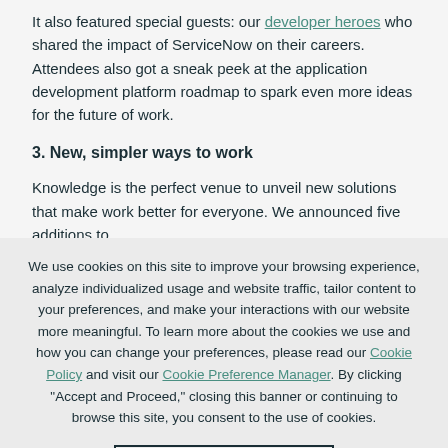It also featured special guests: our developer heroes who shared the impact of ServiceNow on their careers. Attendees also got a sneak peek at the application development platform roadmap to spark even more ideas for the future of work.
3. New, simpler ways to work
Knowledge is the perfect venue to unveil new solutions that make work better for everyone. We announced five additions to
We use cookies on this site to improve your browsing experience, analyze individualized usage and website traffic, tailor content to your preferences, and make your interactions with our website more meaningful. To learn more about the cookies we use and how you can change your preferences, please read our Cookie Policy and visit our Cookie Preference Manager. By clicking "Accept and Proceed," closing this banner or continuing to browse this site, you consent to the use of cookies.
Accept and Proceed